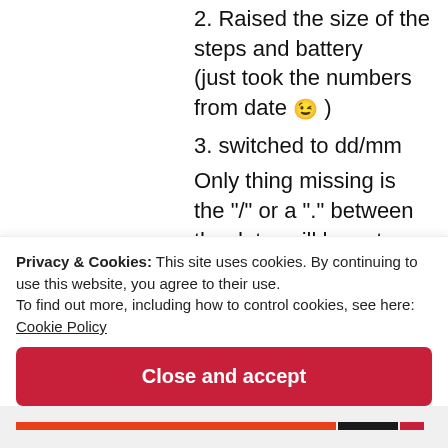2. Raised the size of the steps and battery (just took the numbers from date 😉 )
3. switched to dd/mm
Only thing missing is the "/" or a "." between the date, will have to edit the background image for that 😐 But shouldnt be a big problem.
Created a repo, so we dont flood bigdigitals comment section 😐 We can use the issue...
Privacy & Cookies: This site uses cookies. By continuing to use this website, you agree to their use.
To find out more, including how to control cookies, see here:
Cookie Policy
Close and accept